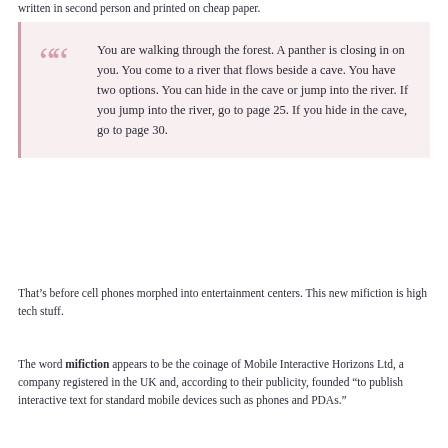written in second person and printed on cheap paper.
You are walking through the forest. A panther is closing in on you. You come to a river that flows beside a cave. You have two options. You can hide in the cave or jump into the river. If you jump into the river, go to page 25. If you hide in the cave, go to page 30.
That’s before cell phones morphed into entertainment centers. This new mifiction is high tech stuff.
The word mifiction appears to be the coinage of Mobile Interactive Horizons Ltd, a company registered in the UK and, according to their publicity, founded “to publish interactive text for standard mobile devices such as phones and PDAs.”